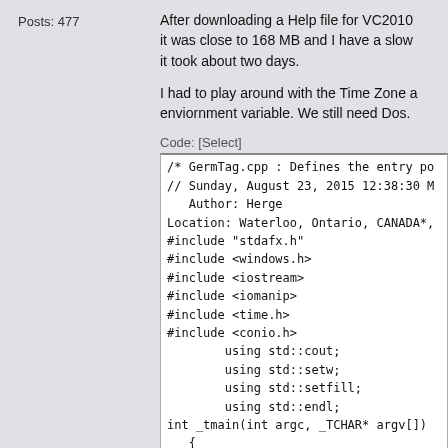Posts: 477
After downloading a Help file for VC2010 it was close to 168 MB and I have a slow it took about two days.
I had to play around with the Time Zone a enviornment variable. We still need Dos.
Code: [Select]
/* GermTag.cpp : Defines the entry p
// Sunday, August 23, 2015 12:38:30
   Author: Herge
Location: Waterloo, Ontario, CANADA*
#include "stdafx.h"
#include <windows.h>
#include <iostream>
#include <iomanip>
#include <time.h>
#include <conio.h>
        using std::cout;
        using std::setw;
        using std::setfill;
        using std::endl;
int _tmain(int argc, _TCHAR* argv[])
   {